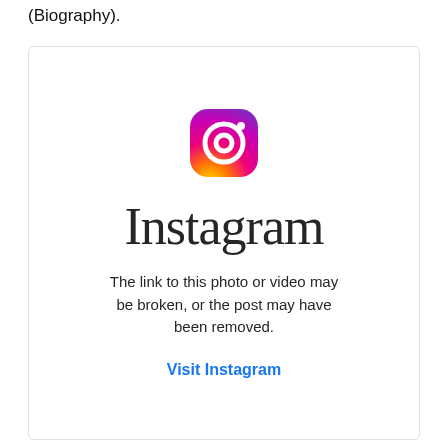(Biography).
[Figure (screenshot): Instagram embedded post placeholder card showing the Instagram logo (camera icon with gradient) and the Instagram wordmark in script font, with message: 'The link to this photo or video may be broken, or the post may have been removed.' and a 'Visit Instagram' link in blue.]
The link to this photo or video may be broken, or the post may have been removed.
Visit Instagram